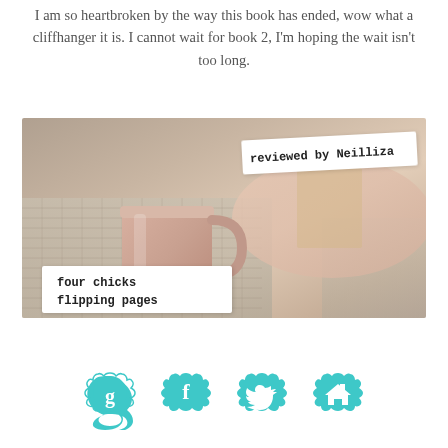I am so heartbroken by the way this book has ended, wow what a cliffhanger it is. I cannot wait for book 2, I'm hoping the wait isn't too long.
[Figure (photo): A cozy photo of a pink mug wrapped in a knitted blanket with a book visible in the background. Two overlay labels: 'reviewed by Neilliza' in top-right corner and 'four chicks flipping pages' in bottom-left corner, both in typewriter font on white backgrounds.]
[Figure (other): Four teal circular badge-shaped social media icons arranged in a row: Goodreads (g), Facebook (f), Twitter bird, and a house/home icon.]